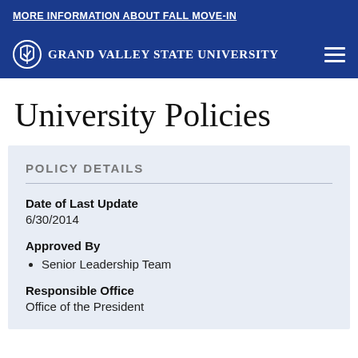MORE INFORMATION ABOUT FALL MOVE-IN
[Figure (logo): Grand Valley State University logo with shield icon and university name in white on navy background, with hamburger menu icon on right]
University Policies
POLICY DETAILS
Date of Last Update
6/30/2014
Approved By
Senior Leadership Team
Responsible Office
Office of the President